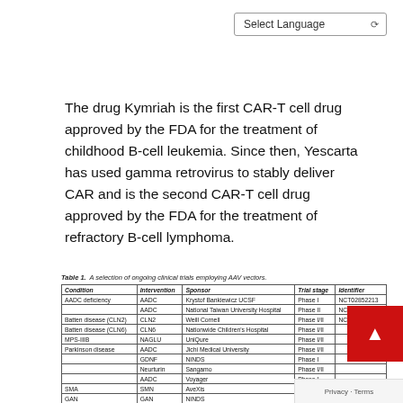Select Language
The drug Kymriah is the first CAR-T cell drug approved by the FDA for the treatment of childhood B-cell leukemia. Since then, Yescarta has used gamma retrovirus to stably deliver CAR and is the second CAR-T cell drug approved by the FDA for the treatment of refractory B-cell lymphoma.
Table 1. A selection of ongoing clinical trials employing AAV vectors.
| Condition | Intervention | Sponsor | Trial stage | Identifier |
| --- | --- | --- | --- | --- |
| AADC deficiency | AADC | Krystof Bankiewicz UCSF | Phase I | NCT02852213 |
|  | AADC | National Taiwan University Hospital | Phase II | NCT02926066 |
| Batten disease (CLN2) | CLN2 | Weill Cornell | Phase I/II | NCT01414985 |
| Batten disease (CLN6) | CLN6 | Nationwide Children's Hospital | Phase I/II |  |
| MPS-IIIB | NAGLU | UniQure | Phase I/II |  |
| Parkinson disease | AADC | Jichi Medical University | Phase I/II |  |
|  | GDNF | NINDS | Phase I |  |
|  | Neurturin | Sangamo | Phase I/II |  |
|  | AADC | Voyager | Phase I |  |
| SMA | SMN | AveXis | Phase III |  |
| GAN | GAN | NINDS | Phase I |  |
| Achromatopsia | CNGB3 | AGTC | Phase I/II |  |
|  | CNGB3 | MeiraGTx | Phase I/II | NCT03001310 |
| ... | ... | ... | ... | ... |